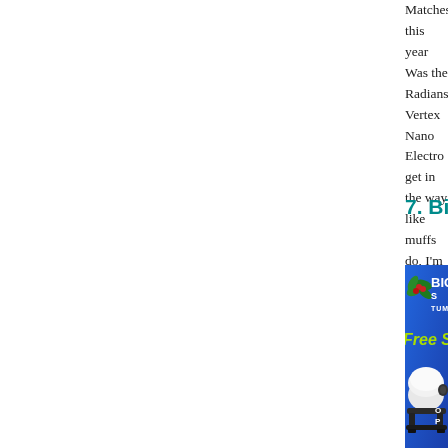Matches this year Was the Radians Vertex Nano Electronic … get in the way like muffs do, I'm able to hear range com… modes for standard and enhanced amplification and easy… roll the foam tightly before inserting … to make a good sea…
7. Big Shot Tumblers — FREE Sh…
[Figure (photo): Big Shot Tumblers advertisement banner on blue background featuring a holly decoration, 'BIG [SHOT] TUM[BLERS]' logo in white, 'Free Shipping W[ith...]' text in yellow-green, and a white tumbler/rock tumbler machine on a black stand.]